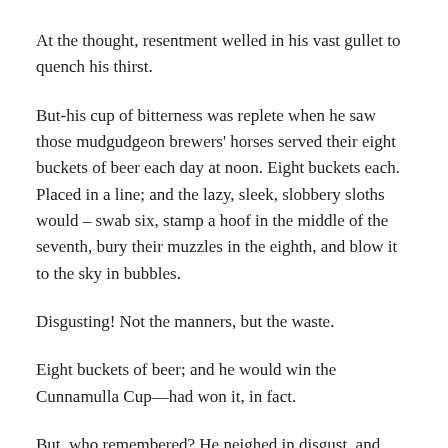At the thought, resentment welled in his vast gullet to quench his thirst.
But-his cup of bitterness was replete when he saw those mudgudgeon brewers' horses served their eight buckets of beer each day at noon. Eight buckets each. Placed in a line; and the lazy, sleek, slobbery sloths would – swab six, stamp a hoof in the middle of the seventh, bury their muzzles in the eighth, and blow it to the sky in bubbles.
Disgusting! Not the manners, but the waste.
Eight buckets of beer; and he would win the Cunnamulla Cup—had won it, in fact.
But, who remembered? He neighed in disgust, and blew the chaff out of his nosebag. So the driver, taking this as a sign that Pete had had enough, removed the nosebag before he